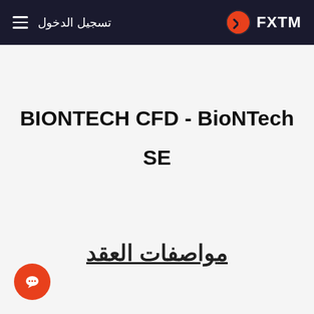تسجيل الدخول  FXTM
BIONTECH CFD - BioNTech SE
مواصفات العقد